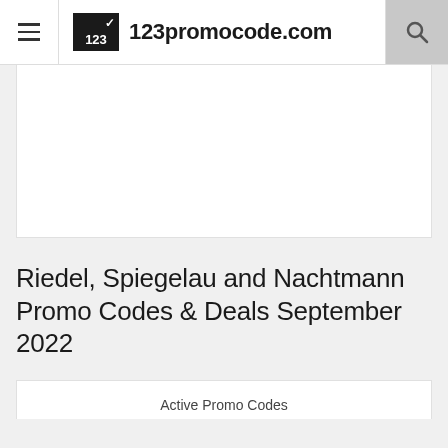123promocode.com
[Figure (other): White advertisement/banner placeholder area]
Riedel, Spiegelau and Nachtmann Promo Codes & Deals September 2022
Active Promo Codes